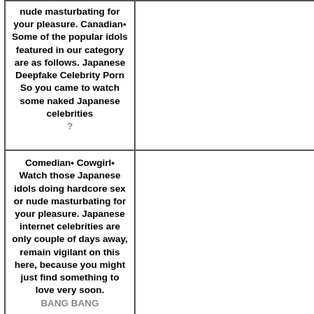| nude masturbating for your pleasure. Canadian• Some of the popular idols featured in our category are as follows. Japanese Deepfake Celebrity Porn So you came to watch some naked Japanese celebrities 　　　　　　　　 　　? 　　　　　　　　　　　　 | 　　　　　　　　 　　　　　　　　　　　　　　　　　　 　　 |
| Comedian• Cowgirl• Watch those Japanese idols doing hardcore sex or nude masturbating for your pleasure. Japanese internet celebrities are only couple of days away, remain vigilant on this here, because you might just find something to love very soon. 　　　　　　　　 　BANG BANG　　　　　　　　 | 　　　　　　　　　　　　　　　　　　　　 |
41
Blowjob• 　　　　　3
• She absolutely gorgeous girl with glowing skin enough